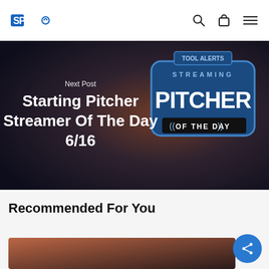SPS logo with search, bag, and menu icons
[Figure (screenshot): Hero banner with dark brown-to-dark gradient background showing a 'Streaming Pitcher of the Day' badge/logo overlay. Text reads: Next Post — Starting Pitcher Streamer Of The Day 6/16]
Next Post
Starting Pitcher Streamer Of The Day 6/16
Recommended For You
[Figure (photo): Partially visible image thumbnail with brown/dark gradient, bottom of page]